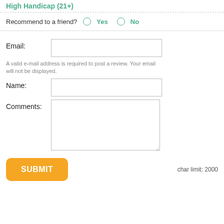High Handicap (21+)
Recommend to a friend? Yes No
Email:
A valid e-mail address is required to post a review. Your email will not be displayed.
Name:
Comments:
char limit: 2000